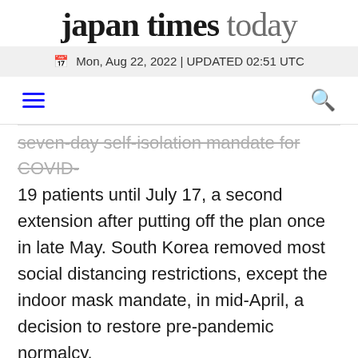Japan Times Today
Mon, Aug 22, 2022 | UPDATED 02:51 UTC
seven-day self-isolation mandate for COVID-19 patients until July 17, a second extension after putting off the plan once in late May. South Korea removed most social distancing restrictions, except the indoor mask mandate, in mid-April, a decision to restore pre-pandemic normalcy. Health officials say weekly deaths have to stay under 100 and the fatality rate needs to